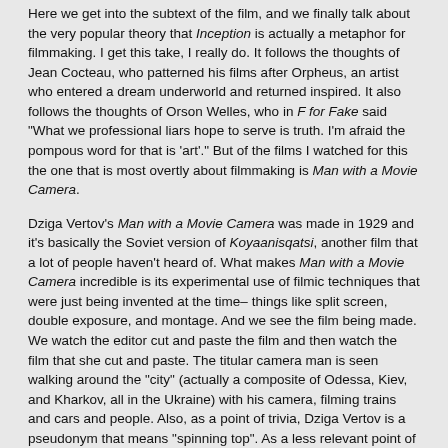Here we get into the subtext of the film, and we finally talk about the very popular theory that Inception is actually a metaphor for filmmaking. I get this take, I really do. It follows the thoughts of Jean Cocteau, who patterned his films after Orpheus, an artist who entered a dream underworld and returned inspired. It also follows the thoughts of Orson Welles, who in F for Fake said "What we professional liars hope to serve is truth. I'm afraid the pompous word for that is 'art'." But of the films I watched for this the one that is most overtly about filmmaking is Man with a Movie Camera.
Dziga Vertov's Man with a Movie Camera was made in 1929 and it's basically the Soviet version of Koyaanisqatsi, another film that a lot of people haven't heard of. What makes Man with a Movie Camera incredible is its experimental use of filmic techniques that were just being invented at the time– things like split screen, double exposure, and montage. And we see the film being made. We watch the editor cut and paste the film and then watch the film that she cut and paste. The titular camera man is seen walking around the "city" (actually a composite of Odessa, Kiev, and Kharkov, all in the Ukraine) with his camera, filming trains and cars and people. Also, as a point of trivia, Dziga Vertov is a pseudonym that means "spinning top". As a less relevant point of trivia, his brother was Boris Kaufman. Yes, that Boris Kaufman.